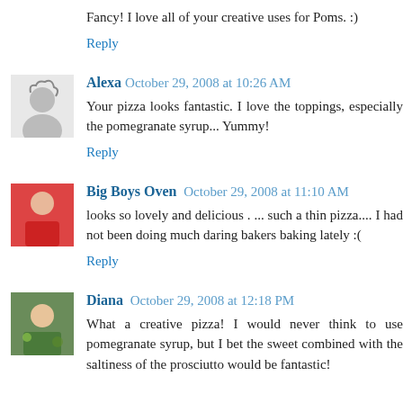Fancy! I love all of your creative uses for Poms. :)
Reply
Alexa  October 29, 2008 at 10:26 AM
Your pizza looks fantastic. I love the toppings, especially the pomegranate syrup... Yummy!
Reply
Big Boys Oven  October 29, 2008 at 11:10 AM
looks so lovely and delicious . ... such a thin pizza.... I had not been doing much daring bakers baking lately :(
Reply
Diana  October 29, 2008 at 12:18 PM
What a creative pizza! I would never think to use pomegranate syrup, but I bet the sweet combined with the saltiness of the prosciutto would be fantastic!